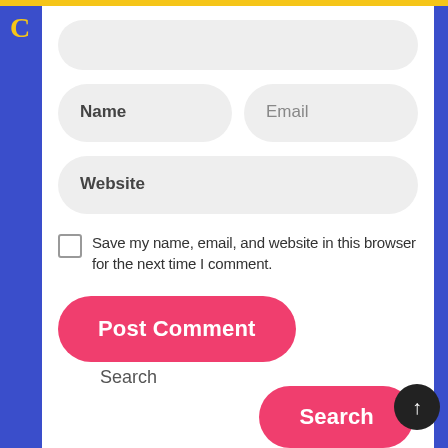[Figure (screenshot): Website comment form with input fields for Name, Email, Website, a checkbox to save info, and a Post Comment button. Below is a Search section with a Search button and back-to-top arrow button.]
Name
Email
Website
Save my name, email, and website in this browser for the next time I comment.
Post Comment
Search
Search